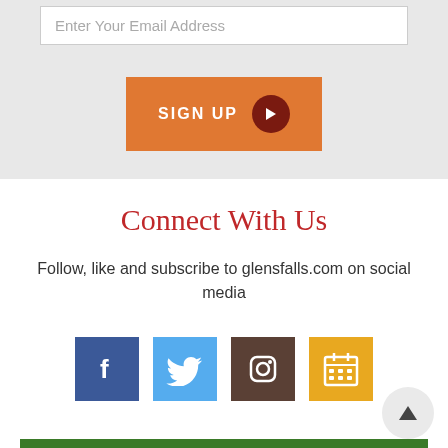Enter Your Email Address
[Figure (other): Orange 'SIGN UP' button with dark red arrow circle]
Connect With Us
Follow, like and subscribe to glensfalls.com on social media
[Figure (other): Social media icons: Facebook, Twitter, Instagram, Calendar]
[Figure (other): Scroll to top button with upward arrow]
[Figure (other): Green ACCOUNT SIGN IN button]
[Figure (other): Orange bar at bottom]